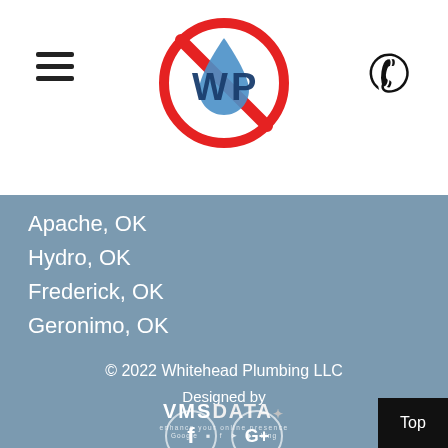[Figure (logo): Whitehead Plumbing logo: circular red no-entry sign with WP text and water droplet inside]
Apache, OK
Hydro, OK
Frederick, OK
Geronimo, OK
© 2022 Whitehead Plumbing LLC
Designed by
[Figure (logo): VMSDATA logo with tagline 'enhance your online presence' and Google, Facebook, Twitter, Apple, Bing icons]
[Figure (logo): Facebook and Google+ social media circle icons]
Top